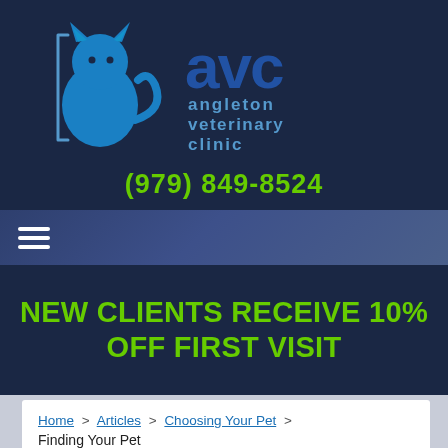[Figure (logo): Angleton Veterinary Clinic logo — blue cat silhouette with 'avc' large text and 'angleton veterinary clinic' smaller text, on dark navy background]
(979) 849-8524
[Figure (other): Navigation hamburger menu icon (three horizontal white lines) on dark blue gradient bar]
NEW CLIENTS RECEIVE 10% OFF FIRST VISIT
Home > Articles > Choosing Your Pet > Finding Your Pet